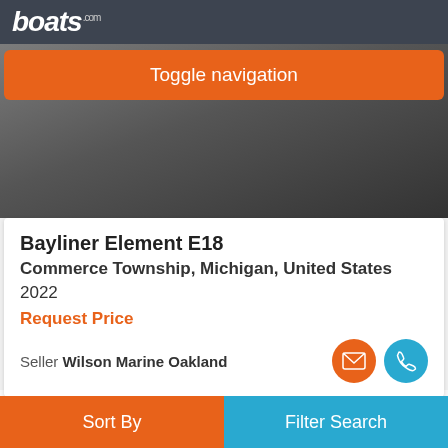boats.com
Toggle navigation
[Figure (photo): Bayliner Element E18 boat photo, dark background showing the hull of the boat]
Bayliner Element E18
Commerce Township, Michigan, United States
2022
Request Price
Seller Wilson Marine Oakland
Advertisement
[Figure (other): Grey advertisement placeholder rectangle]
Sort By | Filter Search